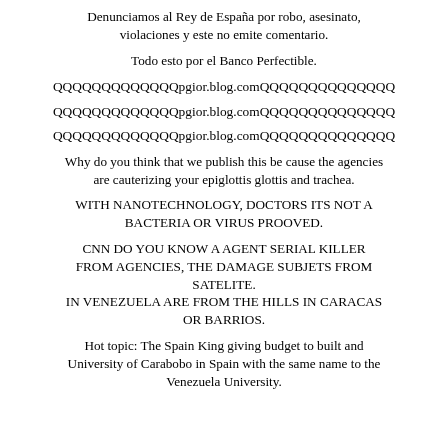Denunciamos al Rey de España por robo, asesinato, violaciones y este no emite comentario.
Todo esto por el Banco Perfectible.
QQQQQQQQQQQQQpgior.blog.comQQQQQQQQQQQQQQ
QQQQQQQQQQQQQpgior.blog.comQQQQQQQQQQQQQQ
QQQQQQQQQQQQQpgior.blog.comQQQQQQQQQQQQQQ
Why do you think that we publish this be cause the agencies are cauterizing your epiglottis glottis and trachea.
WITH NANOTECHNOLOGY, DOCTORS ITS NOT A BACTERIA OR VIRUS PROOVED.
CNN DO YOU KNOW A AGENT SERIAL KILLER FROM AGENCIES, THE DAMAGE SUBJETS FROM SATELITE. IN VENEZUELA ARE FROM THE HILLS IN CARACAS OR BARRIOS.
Hot topic: The Spain King giving budget to built and University of Carabobo in Spain with the same name to the Venezuela University.